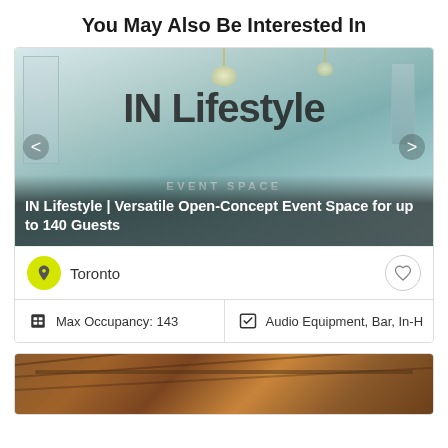You May Also Be Interested In
[Figure (photo): IN Lifestyle event space interior showing white walls, mirrors, chandeliers, and open concept layout. Overlay text reads 'IN Lifestyle EVENT SPACE'. Navigation arrows on sides.]
IN Lifestyle | Versatile Open-Concept Event Space for up to 140 Guests
Toronto
Max Occupancy: 143
Audio Equipment, Bar, In-H
[Figure (photo): Partial view of a second venue showing exposed wooden ceiling beams and industrial lighting.]